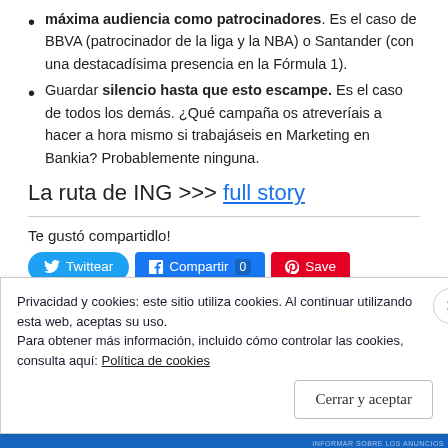máxima audiencia como patrocinadores. Es el caso de BBVA (patrocinador de la liga y la NBA) o Santander (con una destacadísima presencia en la Fórmula 1).
Guardar silencio hasta que esto escampe. Es el caso de todos los demás. ¿Qué campaña os atreveríais a hacer a hora mismo si trabajáseis en Marketing en Bankia? Probablemente ninguna.
La ruta de ING >>> full story
Te gustó compartidlo!
[Figure (screenshot): Social share buttons: Twittear (Twitter, blue), Compartir 0 (Facebook, blue), Save (Pinterest, red)]
Privacidad y cookies: este sitio utiliza cookies. Al continuar utilizando esta web, aceptas su uso.
Para obtener más información, incluido cómo controlar las cookies, consulta aquí: Política de cookies
Cerrar y aceptar